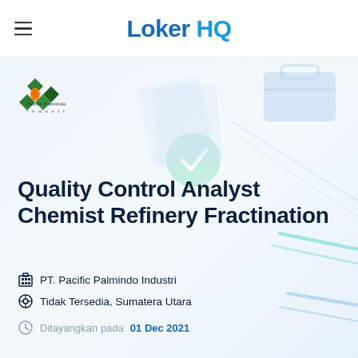Loker HQ
[Figure (logo): Pacific Palmindo Industri company logo with green diamond shapes and orange oil drop]
Quality Control Analyst Chemist Refinery Fractination
PT. Pacific Palmindo Industri
Tidak Tersedia, Sumatera Utara
Ditayangkan pada 01 Dec 2021